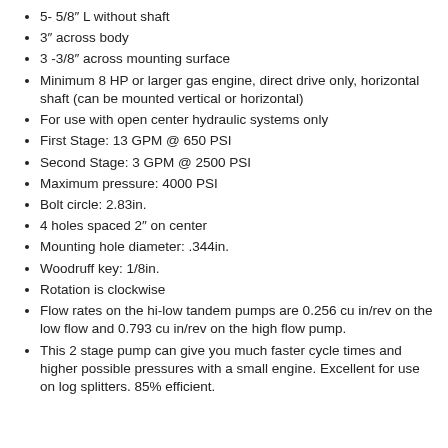5- 5/8″ L without shaft
3″ across body
3 -3/8″ across mounting surface
Minimum 8 HP or larger gas engine, direct drive only, horizontal shaft (can be mounted vertical or horizontal)
For use with open center hydraulic systems only
First Stage: 13 GPM @ 650 PSI
Second Stage: 3 GPM @ 2500 PSI
Maximum pressure: 4000 PSI
Bolt circle: 2.83in.
4 holes spaced 2″ on center
Mounting hole diameter: .344in.
Woodruff key: 1/8in.
Rotation is clockwise
Flow rates on the hi-low tandem pumps are 0.256 cu in/rev on the low flow and 0.793 cu in/rev on the high flow pump.
This 2 stage pump can give you much faster cycle times and higher possible pressures with a small engine. Excellent for use on log splitters. 85% efficient.